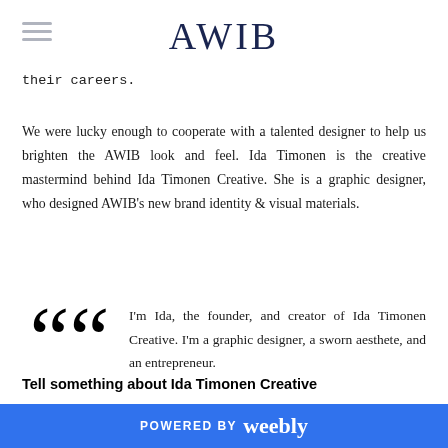AWIB
their careers.
We were lucky enough to cooperate with a talented designer to help us brighten the AWIB look and feel. Ida Timonen is the creative mastermind behind Ida Timonen Creative. She is a graphic designer, who designed AWIB's new brand identity & visual materials.
I'm Ida, the founder, and creator of Ida Timonen Creative. I'm a graphic designer, a sworn aesthete, and an entrepreneur.
Tell something about Ida Timonen Creative
POWERED BY weebly